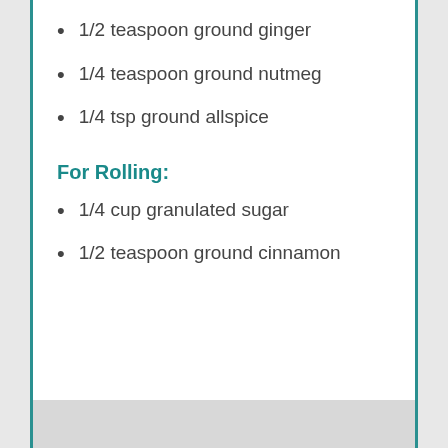1/2 teaspoon ground ginger
1/4 teaspoon ground nutmeg
1/4 tsp ground allspice
For Rolling:
1/4 cup granulated sugar
1/2 teaspoon ground cinnamon